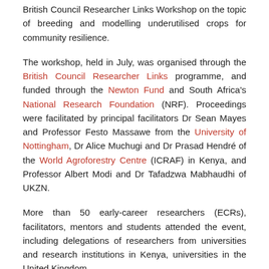British Council Researcher Links Workshop on the topic of breeding and modelling underutilised crops for community resilience.
The workshop, held in July, was organised through the British Council Researcher Links programme, and funded through the Newton Fund and South Africa's National Research Foundation (NRF). Proceedings were facilitated by principal facilitators Dr Sean Mayes and Professor Festo Massawe from the University of Nottingham, Dr Alice Muchugi and Dr Prasad Hendré of the World Agroforestry Centre (ICRAF) in Kenya, and Professor Albert Modi and Dr Tafadzwa Mabhaudhi of UKZN.
More than 50 early-career researchers (ECRs), facilitators, mentors and students attended the event, including delegations of researchers from universities and research institutions in Kenya, universities in the United Kingdom